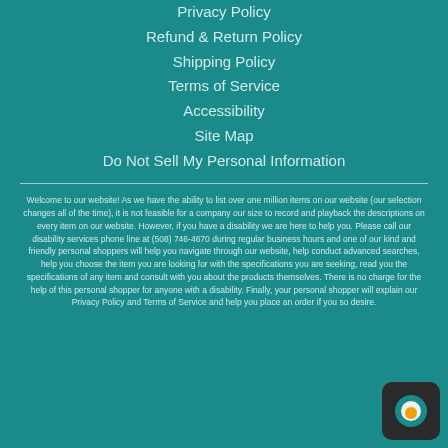Privacy Policy
Refund & Return Policy
Shipping Policy
Terms of Service
Accessibility
Site Map
Do Not Sell My Personal Information
Welcome to our website! As we have the ability to list over one million items on our website (our selection changes all of the time), it is not feasible for a company our size to record and playback the descriptions on every item on our website. However, if you have a disability we are here to help you. Please call our disability services phone line at (508) 746-4670 during regular business hours and one of our kind and friendly personal shoppers will help you navigate through our website, help conduct advanced searches, help you choose the item you are looking for with the specifications you are seeking, read you the specifications of any item and consult with you about the products themselves. There is no charge for the help of this personal shopper for anyone with a disability. Finally, your personal shopper will explain our Privacy Policy and Terms of Service and help you place an order if you so desire.